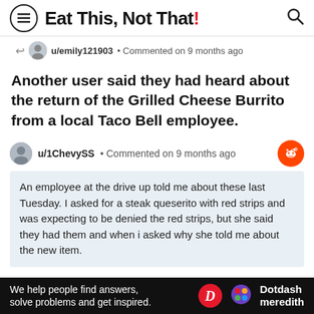Eat This, Not That!
u/emily121903 • Commented on 9 months ago
Another user said they had heard about the return of the Grilled Cheese Burrito from a local Taco Bell employee.
u/1ChevySS • Commented on 9 months ago
An employee at the drive up told me about these last Tuesday. I asked for a steak queserito with red strips and was expecting to be denied the red strips, but she said they had them and when i asked why she told me about the new item.
Then a new post in the Taco Bell community revealed that the item is actually available today as an
We help people find answers, solve problems and get inspired.